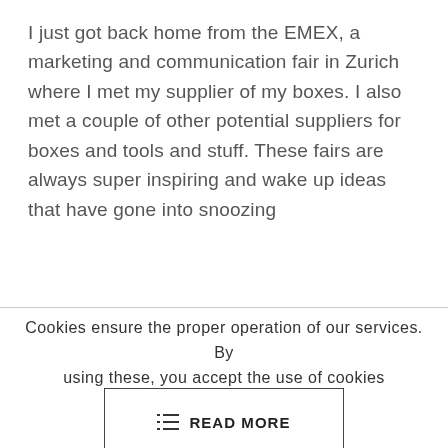I just got back home from the EMEX, a marketing and communication fair in Zurich where I met my supplier of my boxes. I also met a couple of other potential suppliers for boxes and tools and stuff. These fairs are always super inspiring and wake up ideas that have gone into snoozing
Cookies ensure the proper operation of our services. By using these, you accept the use of cookies
READ MORE
DENY ALL THE COOKIES
ALLOW ALL THE COOKIES